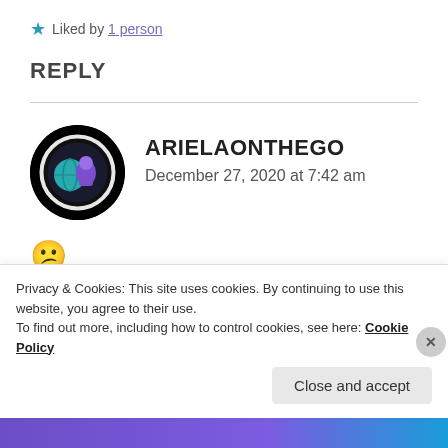★ Liked by 1 person
REPLY
ARIELAONTHEGO
December 27, 2020 at 7:42 am
[Figure (illustration): Circular avatar image with black background, white glowing ring, and colorful globe/character illustration inside]
☹
★ Liked by 1 person
Privacy & Cookies: This site uses cookies. By continuing to use this website, you agree to their use.
To find out more, including how to control cookies, see here: Cookie Policy
Close and accept